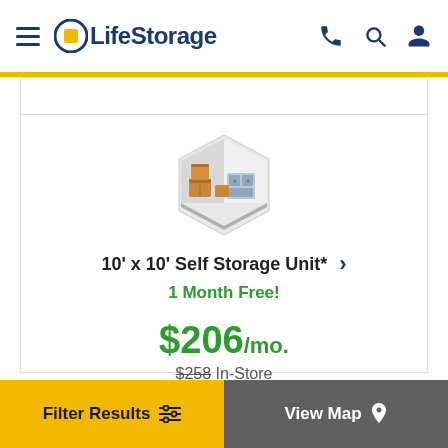LifeStorage
[Figure (illustration): Isometric illustration of a 10x10 storage unit with boxes and furniture inside, hexagonal outline]
10' x 10' Self Storage Unit*
1 Month Free!
$206/mo.
$258 In-Store
Filter Results | View Map